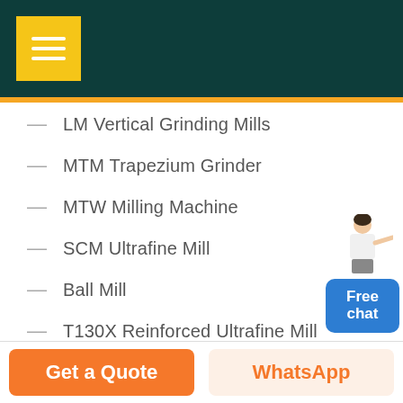[Figure (screenshot): Dark teal header bar with yellow hamburger menu button (three horizontal white lines on yellow square background)]
LM Vertical Grinding Mills
MTM Trapezium Grinder
MTW Milling Machine
SCM Ultrafine Mill
Ball Mill
T130X Reinforced Ultrafine Mill
Raymond Mill
[Figure (illustration): Free chat widget - a woman figure pointing with a blue rounded rectangle button reading 'Free chat']
Get a Quote
WhatsApp